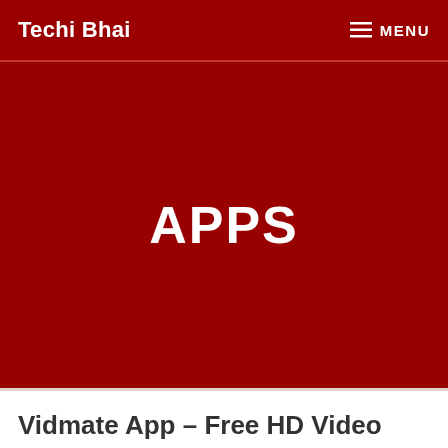Techi Bhai | MENU
APPS
Vidmate App – Free HD Video Downloader and Live TV APK